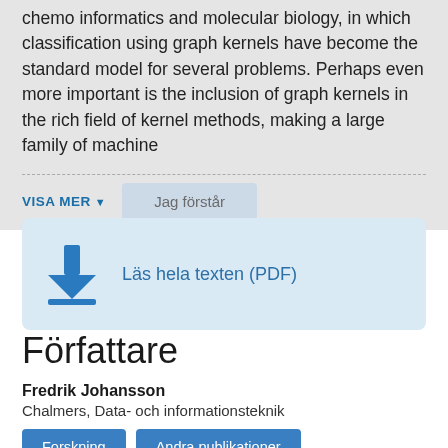chemo informatics and molecular biology, in which classification using graph kernels have become the standard model for several problems. Perhaps even more important is the inclusion of graph kernels in the rich field of kernel methods, making a large family of machine
VISA MER ▾
[Figure (screenshot): Button labeled 'Jag förstår' in light blue-grey color]
[Figure (screenshot): Download button with arrow icon and text 'Läs hela texten (PDF)' on a light blue background]
Författare
Fredrik Johansson
Chalmers, Data- och informationsteknik
Forskning   Andra publikationer